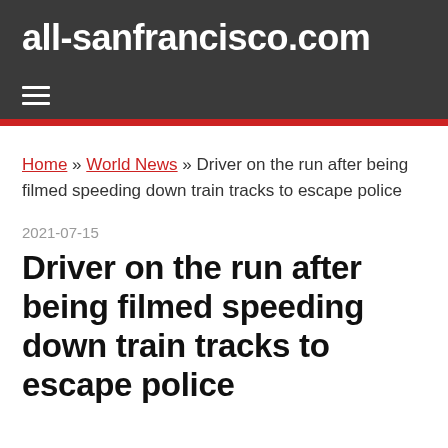all-sanfrancisco.com
≡
Home » World News » Driver on the run after being filmed speeding down train tracks to escape police
2021-07-15
Driver on the run after being filmed speeding down train tracks to escape police